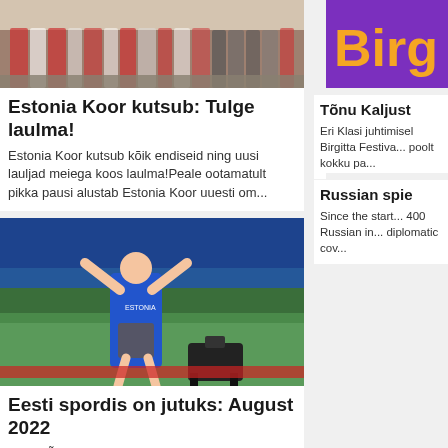[Figure (photo): Group of people in traditional Estonian folk costumes standing together outdoors]
Estonia Koor kutsub: Tulge laulma!
Estonia Koor kutsub kõik endiseid ning uusi lauljad meiega koos laulma!Peale ootamatult pikka pausi alustab Estonia Koor uuesti om...
[Figure (photo): Purple background with orange text 'Birg' (partially visible Birgitta Festival branding)]
Tõnu Kaljust
Eri Klasi juhtimisel Birgitta Festiva... poolt kokku pa...
Russian spie
Since the start... 400 Russian in... diplomatic cov...
[Figure (photo): Athlete in blue Estonian uniform celebrating with arms raised at a track and field event, camera equipment in foreground, stadium crowd in background]
Eesti spordis on jutuks: August 2022
Janek Õiglane täitis eestlaste lootused!Tahtmine öeldakse olevat taevariik, aga reaalsus on see, et kui väikese riigi atleet saab...